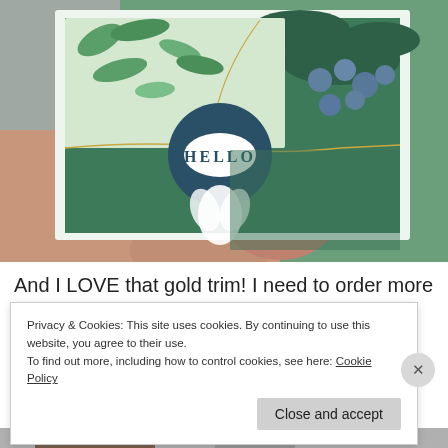[Figure (photo): A hand holding a handmade greeting card with botanical green and teal design, featuring a dark teal circular embellishment with 'HELLO' text, white embossed leaf, gold trim, and botanical printed paper with leaves and berries on green embossed background.]
And I LOVE that gold trim! I need to order more
Privacy & Cookies: This site uses cookies. By continuing to use this website, you agree to their use.
To find out more, including how to control cookies, see here: Cookie Policy
Close and accept